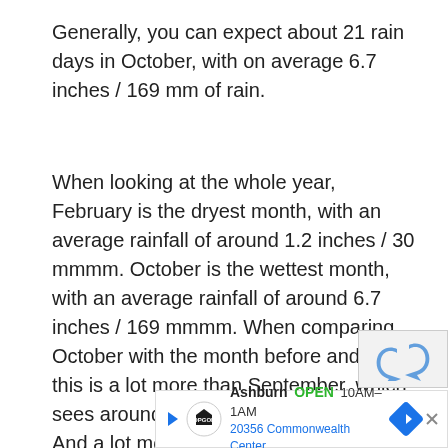Generally, you can expect about 21 rain days in October, with on average 6.7 inches / 169 mm of rain.
When looking at the whole year, February is the dryest month, with an average rainfall of around 1.2 inches / 30 mmmm. October is the wettest month, with an average rainfall of around 6.7 inches / 169 mmmm. When comparing October with the month before and after, this is a lot more than September, which sees around 5.7 inches / 144 mm of rain. And a lot more than November, which sees around 5 inches / 128 mm of rain
[Figure (other): reCAPTCHA icon partial view in bottom right corner]
[Figure (other): Advertisement banner for Topgolf Ashburn: OPEN 10AM-1AM, 20356 Commonwealth Center...]